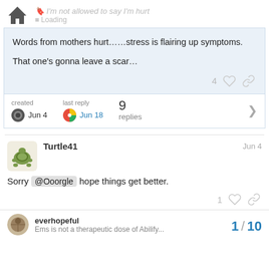I'm not allowed to say I'm hurt
Words from mothers hurt……stress is flairing up symptoms.

That one's gonna leave a scar…
4 likes
created Jun 4  last reply Jun 18  9 replies
Turtle41  Jun 4
Sorry @Ooorgle hope things get better.
1 like
everhopeful  Ems is not a therapeutic dose of Ability...
1 / 10